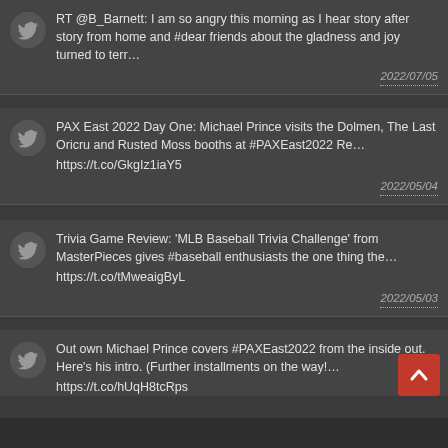RT @B_Barnett: I am so angry this morning as I hear story after story from home and #dear friends about the gladness and joy turned to terr… 2022/07/05
PAX East 2022 Day One: Michael Prince visits the Dolmen, The Last Oricru and Rusted Moss booths at #PAXEast2022 Re… https://t.co/GkgIz1iaY5 2022/05/04
Trivia Game Review: 'MLB Baseball Trivia Challenge' from MasterPieces gives #baseball enthusiasts the one thing the… https://t.co/tMweaigByL 2022/05/03
Out own Michael Prince covers #PAXEast2022 from the inside out. Here's his intro. (Further installments on the way!… https://t.co/hUqH8tcRps 2022/05/03
Theater Review: Masks Can't Mask Love in 'André & Dorine' – masked actors tell a story of dementia in a brilliantly… https://t.co/SZSZv1sDlU 2022/05/02